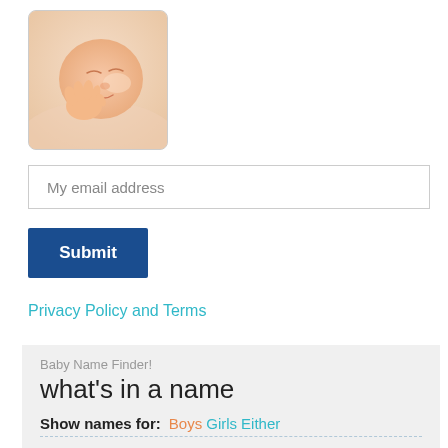[Figure (photo): A sleeping newborn baby with hand near face, close-up photo with soft warm tones]
My email address
Submit
Privacy Policy and Terms
Baby Name Finder!
what's in a name
Show names for:  Boys  Girls  Either
Finding a name you can both agree on isn't always easy. Use our simple name generator to get started.